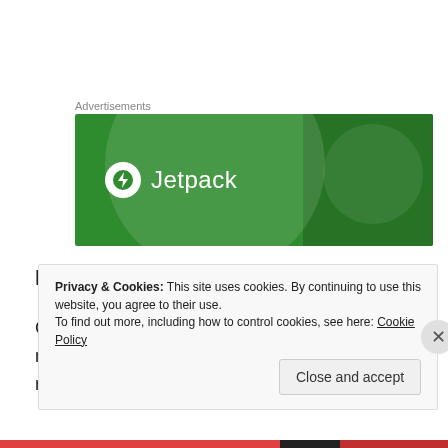Advertisements
[Figure (illustration): Green Jetpack advertisement banner with circular logo icon showing a lightning bolt, text 'Jetpack', decorative circles and dots on dark green background]
November 15, 2013
Corrie wasn't able to meet Brooklyn until after midnight that first night because she was recovering from surgery.
Privacy & Cookies: This site uses cookies. By continuing to use this website, you agree to their use.
To find out more, including how to control cookies, see here: Cookie Policy
Close and accept